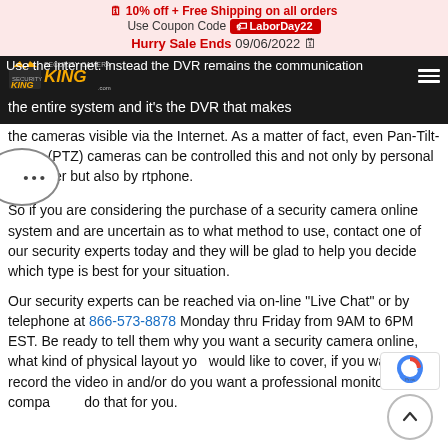10% off + Free Shipping on all orders Use Coupon Code LaborDay22 Hurry Sale Ends 09/06/2022
[Figure (logo): Security Camera King logo with crown icon and yellow KING text on dark nav bar]
the internet. Instead the DVR remains the communication the entire system and it's the DVR that makes the cameras visible via the Internet. As a matter of fact, even Pan-Tilt-Zoom (PTZ) cameras can be controlled this and not only by personal computer but also by rtphone.
So if you are considering the purchase of a security camera online system and are uncertain as to what method to use, contact one of our security experts today and they will be glad to help you decide which type is best for your situation.
Our security experts can be reached via on-line “Live Chat” or by telephone at 866-573-8878 Monday thru Friday from 9AM to 6PM EST. Be ready to tell them why you want a security camera online, what kind of physical layout you would like to cover, if you want to record the video in and/or do you want a professional monitoring compa do that for you.